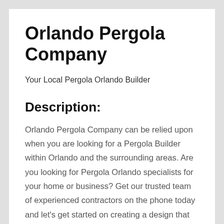Orlando Pergola Company
Your Local Pergola Orlando Builder
Description:
Orlando Pergola Company can be relied upon when you are looking for a Pergola Builder within Orlando and the surrounding areas. Are you looking for Pergola Orlando specialists for your home or business? Get our trusted team of experienced contractors on the phone today and let’s get started on creating a design that flatters the structure of your existing home. It can be difficult to find a trustworthy company that is skilled in exceptional craftsmanship these days. You can expect